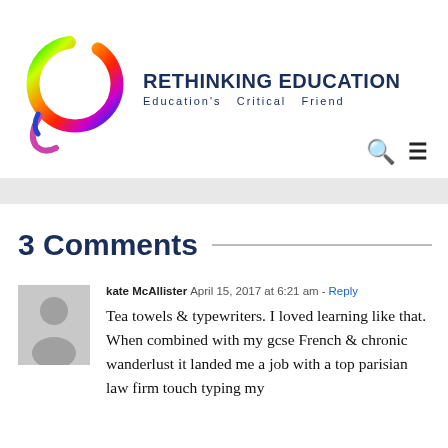[Figure (logo): Rethinking Education logo: a circular brush stroke in rainbow colors (green, yellow, red, blue) with a white interior, resembling a calligraphic circle.]
RETHINKING EDUCATION
Education's Critical Friend
3 Comments
kate McAllister  April 15, 2017 at 6:21 am - Reply
Tea towels & typewriters. I loved learning like that. When combined with my gcse French & chronic wanderlust it landed me a job with a top parisian law firm touch typing my